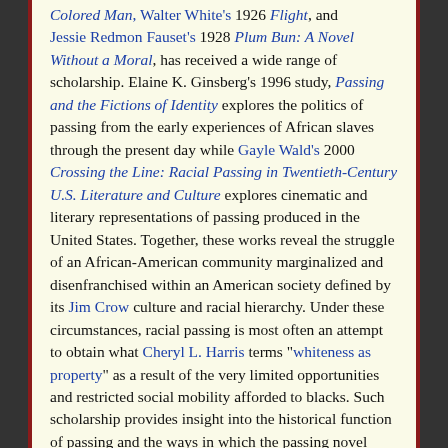Colored Man, Walter White's 1926 Flight, and Jessie Redmon Fauset's 1928 Plum Bun: A Novel Without a Moral, has received a wide range of scholarship. Elaine K. Ginsberg's 1996 study, Passing and the Fictions of Identity explores the politics of passing from the early experiences of African slaves through the present day while Gayle Wald's 2000 Crossing the Line: Racial Passing in Twentieth-Century U.S. Literature and Culture explores cinematic and literary representations of passing produced in the United States. Together, these works reveal the struggle of an African-American community marginalized and disenfranchised within an American society defined by its Jim Crow culture and racial hierarchy. Under these circumstances, racial passing is most often an attempt to obtain what Cheryl L. Harris terms “whiteness as property” as a result of the very limited opportunities and restricted social mobility afforded to blacks. Such scholarship provides insight into the historical function of passing and the ways in which the passing novel brings to the forefront of the